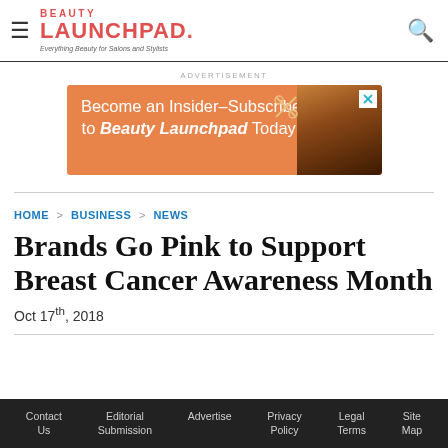Beauty Launchpad — Everything Beauty for Salons and Stylists
[Figure (other): Advertisement banner: orange background, text 'Become an Insider–Subscribe to Beauty Launchpad Today!' with scissors and hair imagery]
HOME > BUSINESS > NEWS
Brands Go Pink to Support Breast Cancer Awareness Month
Oct 17th, 2018
Contact Us  Editorial Submission  Advertise  Privacy Policy  Legal Terms  Site Map